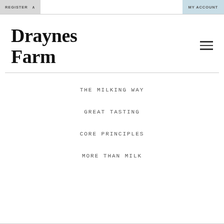REGISTER   MY ACCOUNT
Draynes Farm
THE MILKING WAY
GREAT TASTING
CORE PRINCIPLES
MORE THAN MILK